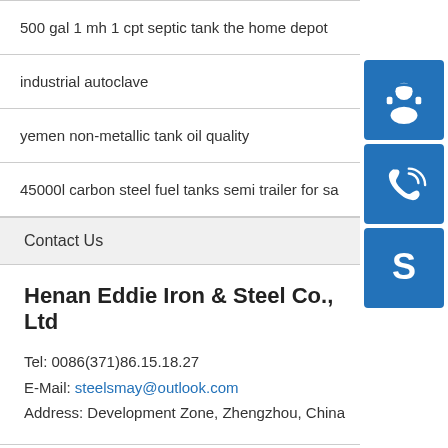500 gal 1 mh 1 cpt septic tank the home depot
industrial autoclave
yemen non-metallic tank oil quality
45000l carbon steel fuel tanks semi trailer for sa
Contact Us
Henan Eddie Iron & Steel Co., Ltd
Tel: 0086(371)86.15.18.27
E-Mail: steelsmay@outlook.com
Address: Development Zone, Zhengzhou, China
[Figure (infographic): Three blue square icon buttons on the right sidebar: top is a customer service/headset icon, middle is a phone/call icon, bottom is a Skype icon.]